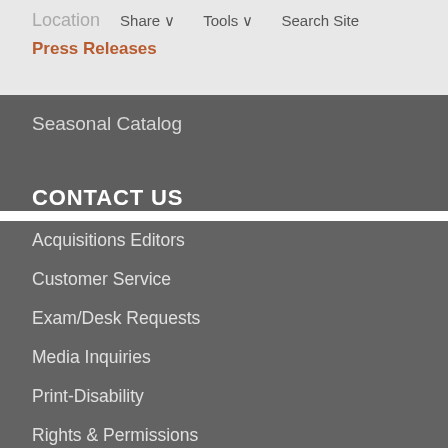Location   Share ∨   Tools ∨   Search Site
Press Releases
Seasonal Catalog
CONTACT US
Acquisitions Editors
Customer Service
Exam/Desk Requests
Media Inquiries
Print-Disability
Rights & Permissions
Royalties
This site uses cookies. By continuing to use our website, you are agreeing to our privacy policy.
Accept